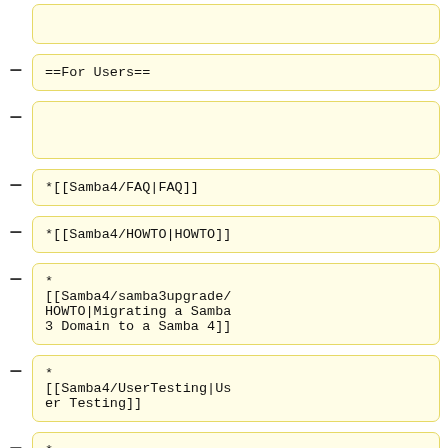==For Users==
*[[Samba4/FAQ|FAQ]]
*[[Samba4/HOWTO|HOWTO]]
*
[[Samba4/samba3upgrade/HOWTO|Migrating a Samba 3 Domain to a Samba 4]]
*
[[Samba4/UserTesting|User Testing]]
*
[[Samba4/Smart_Card_Login|Smart Card Login (to Windows Clients) HOWTO]]